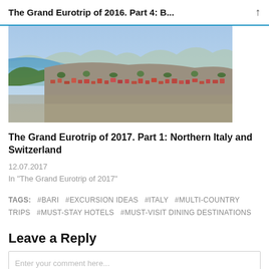The Grand Eurotrip of 2016. Part 4: B...
[Figure (photo): Aerial view of a lakeside town in Northern Italy, showing red-roofed buildings, lush greenery, and a blue lake in the background with mountains.]
The Grand Eurotrip of 2017. Part 1: Northern Italy and Switzerland
12.07.2017
In "The Grand Eurotrip of 2017"
TAGS:   #BARI   #EXCURSION IDEAS   #ITALY   #MULTI-COUNTRY TRIPS   #MUST-STAY HOTELS   #MUST-VISIT DINING DESTINATIONS
Leave a Reply
Enter your comment here...